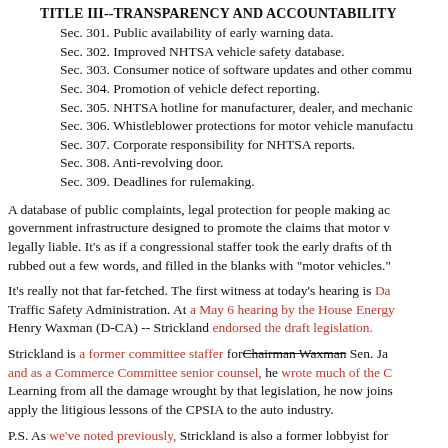TITLE III--TRANSPARENCY AND ACCOUNTABILITY
Sec. 301. Public availability of early warning data.
Sec. 302. Improved NHTSA vehicle safety database.
Sec. 303. Consumer notice of software updates and other commu...
Sec. 304. Promotion of vehicle defect reporting.
Sec. 305. NHTSA hotline for manufacturer, dealer, and mechanic...
Sec. 306. Whistleblower protections for motor vehicle manufactu...
Sec. 307. Corporate responsibility for NHTSA reports.
Sec. 308. Anti-revolving door.
Sec. 309. Deadlines for rulemaking.
A database of public complaints, legal protection for people making ac... government infrastructure designed to promote the claims that motor v... legally liable. It's as if a congressional staffer took the early drafts of th... rubbed out a few words, and filled in the blanks with "motor vehicles."
It's really not that far-fetched. The first witness at today's hearing is Da... Traffic Safety Administration. At a May 6 hearing by the House Energy... Henry Waxman (D-CA) -- Strickland endorsed the draft legislation.
Strickland is a former committee staffer for Chairman Waxman Sen. Ja... and as a Commerce Committee senior counsel, he wrote much of the C... Learning from all the damage wrought by that legislation, he now joins... apply the litigious lessons of the CPSIA to the auto industry.
P.S. As we've noted previously, Strickland is also a former lobbyist for...